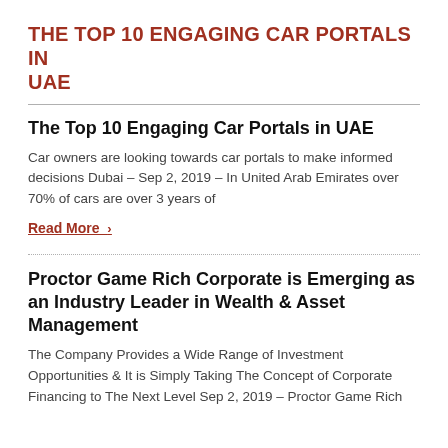THE TOP 10 ENGAGING CAR PORTALS IN UAE
The Top 10 Engaging Car Portals in UAE
Car owners are looking towards car portals to make informed decisions Dubai – Sep 2, 2019 – In United Arab Emirates over 70% of cars are over 3 years of
Read More ›
Proctor Game Rich Corporate is Emerging as an Industry Leader in Wealth & Asset Management
The Company Provides a Wide Range of Investment Opportunities & It is Simply Taking The Concept of Corporate Financing to The Next Level Sep 2, 2019 – Proctor Game Rich